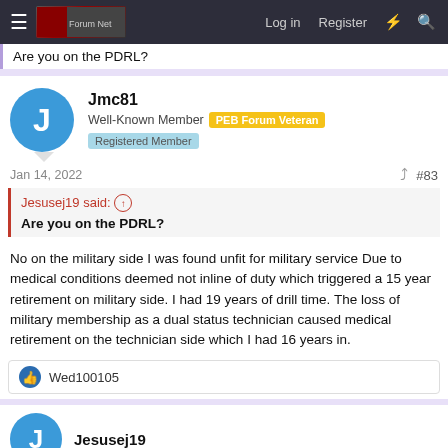≡  [logo]  Log in  Register  ⚡  🔍
Are you on the PDRL?
Jmc81
Well-Known Member  PEB Forum Veteran  Registered Member
Jan 14, 2022  #83
Jesusej19 said: ↑
Are you on the PDRL?
No on the military side I was found unfit for military service Due to medical conditions deemed not inline of duty which triggered a 15 year retirement on military side. I had 19 years of drill time. The loss of military membership as a dual status technician caused medical retirement on the technician side which I had 16 years in.
👍 Wed100105
Jesusej19